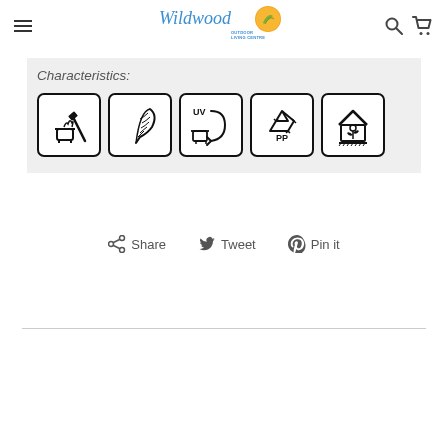Wildwood Outdoor Living Centre
Characteristics:
[Figure (infographic): Five product characteristic icons in rounded square borders: fire/heat resistant icon, lightweight (feather) icon, UV resistant icon, recyclable PP plastic icon, and plant/garden safe icon.]
Share   Tweet   Pin it